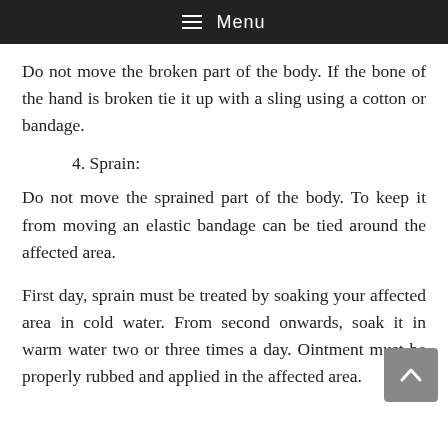≡ Menu
Do not move the broken part of the body. If the bone of the hand is broken tie it up with a sling using a cotton or bandage.
4. Sprain:
Do not move the sprained part of the body. To keep it from moving an elastic bandage can be tied around the affected area.
First day, sprain must be treated by soaking your affected area in cold water. From second onwards, soak it in warm water two or three times a day. Ointment must be properly rubbed and applied in the affected area.